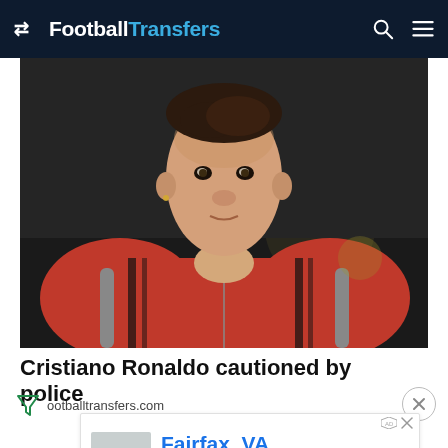FootballTransfers
[Figure (photo): Cristiano Ronaldo wearing a red Manchester United hoodie with a backpack, close-up portrait against a dark urban background]
Cristiano Ronaldo cautioned by police
footballtransfers.com
[Figure (screenshot): Advertisement for Atlas Bodyworks in Fairfax, VA. Text: 'Shop our services, book online, and explore our offerings all on one page'. Open button.]